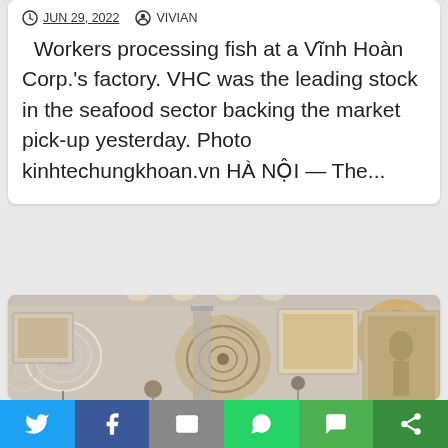JUN 29, 2022  VIVIAN
Workers processing fish at a Vĩnh Hoàn Corp.'s factory. VHC was the leading stock in the seafood sector backing the market pick-up yesterday. Photo kinhtechungkhoan.vn HÀ NỘI — The...
[Figure (photo): Interior of a natural history or art gallery/shop showing spiral fossil/shell decorations mounted on stands, paintings on walls, and track lighting on ceiling. A person's head is partially visible at the bottom.]